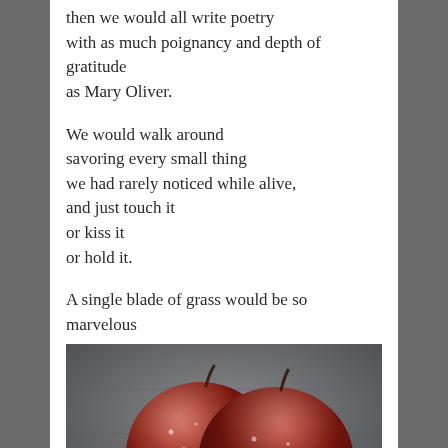then we would all write poetry
with as much poignancy and depth of gratitude
as Mary Oliver.
We would walk around
savoring every small thing
we had rarely noticed while alive,
and just touch it
or kiss it
or hold it.
A single blade of grass would be so marvelous
[Figure (photo): Two shiny red apples with water droplets against a grey textured brick wall background, sitting on a light surface.]